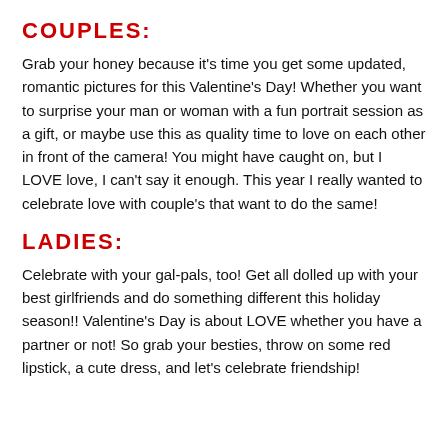COUPLES:
Grab your honey because it's time you get some updated, romantic pictures for this Valentine's Day! Whether you want to surprise your man or woman with a fun portrait session as a gift, or maybe use this as quality time to love on each other in front of the camera! You might have caught on, but I LOVE love, I can't say it enough. This year I really wanted to celebrate love with couple's that want to do the same!
LADIES:
Celebrate with your gal-pals, too! Get all dolled up with your best girlfriends and do something different this holiday season!! Valentine's Day is about LOVE whether you have a partner or not! So grab your besties, throw on some red lipstick, a cute dress, and let's celebrate friendship!